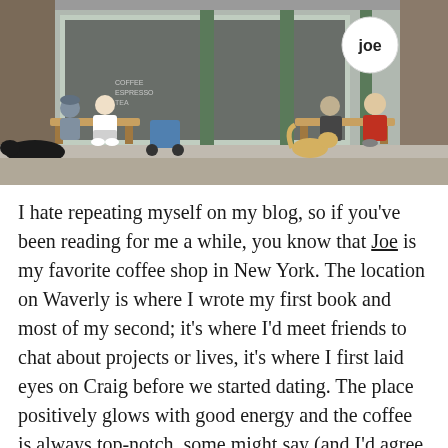[Figure (photo): Street-level photo of Joe coffee shop storefront. People sitting on benches outside. A black dog lies on the left, a yellow Labrador sits on the right. A stroller is visible. The Joe logo is visible in the window.]
I hate repeating myself on my blog, so if you've been reading for me a while, you know that Joe is my favorite coffee shop in New York. The location on Waverly is where I wrote my first book and most of my second; it's where I'd meet friends to chat about projects or lives, it's where I first laid eyes on Craig before we started dating. The place positively glows with good energy and the coffee is always top-notch, some might say (and I'd agree with them) the best in town.